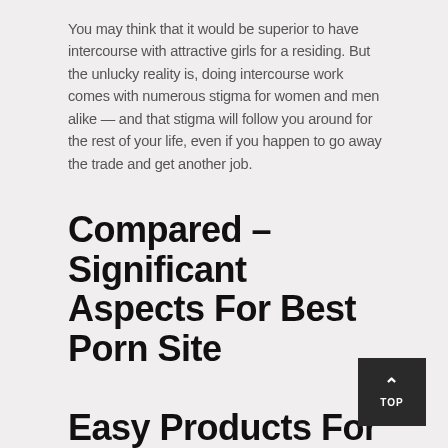You may think that it would be superior to have intercourse with attractive girls for a residing. But the unlucky reality is, doing intercourse work comes with numerous stigma for women and men alike — and that stigma will follow you around for the rest of your life, even if you happen to go away the trade and get another job.
Compared – Significant Aspects For Best Porn Site
Easy Products For